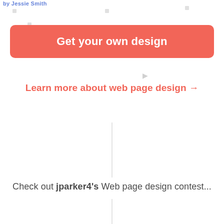by Jessie Smith
Get your own design
Learn more about web page design →
Check out jparker4's Web page design contest...